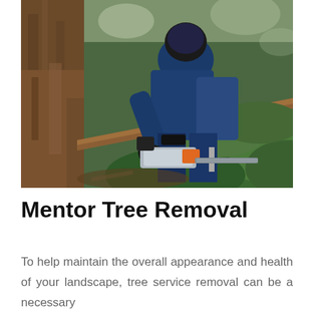[Figure (photo): A person in blue work clothes and gloves using a chainsaw to cut a large tree trunk, surrounded by green foliage and branches on the ground.]
Mentor Tree Removal
To help maintain the overall appearance and health of your landscape, tree service removal can be a necessary